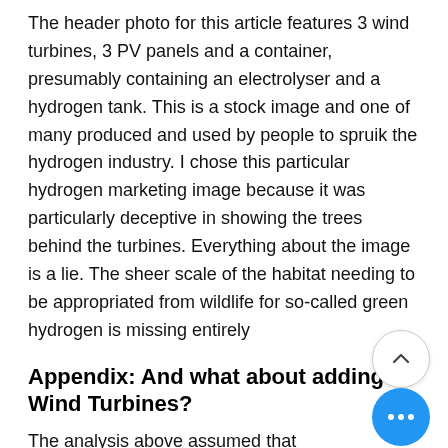The header photo for this article features 3 wind turbines, 3 PV panels and a container, presumably containing an electrolyser and a hydrogen tank. This is a stock image and one of many produced and used by people to spruik the hydrogen industry. I chose this particular hydrogen marketing image because it was particularly deceptive in showing the trees behind the turbines. Everything about the image is a lie. The sheer scale of the habitat needing to be appropriated from wildlife for so-called green hydrogen is missing entirely
Appendix: And what about adding Wind Turbines?
The analysis above assumed that